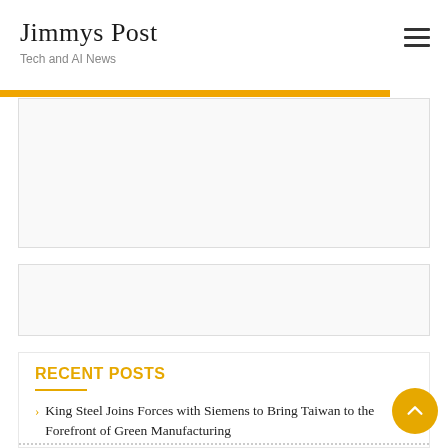Jimmys Post
Tech and AI News
[Figure (other): Advertisement banner placeholder box 1]
[Figure (other): Advertisement banner placeholder box 2]
RECENT POSTS
King Steel Joins Forces with Siemens to Bring Taiwan to the Forefront of Green Manufacturing